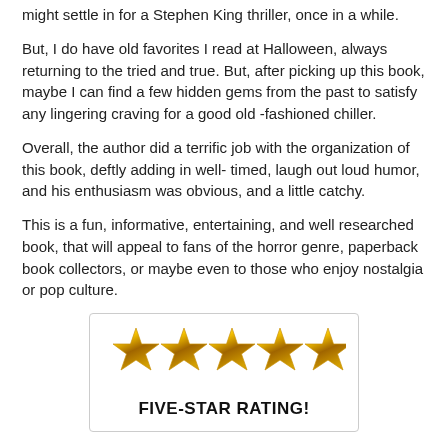might settle in for a Stephen King thriller, once in a while.
But, I do have old favorites I read at Halloween, always returning to the tried and true. But, after picking up this book, maybe I can find a few hidden gems from the past to satisfy any lingering craving for a good old -fashioned chiller.
Overall, the author did a terrific job with the organization of this book, deftly adding in well- timed, laugh out loud humor, and his enthusiasm was obvious, and a little catchy.
This is a fun, informative, entertaining, and well researched book, that will appeal to fans of the horror genre, paperback book collectors, or maybe even to those who enjoy nostalgia or pop culture.
[Figure (other): Five golden stars rating graphic with text FIVE-STAR RATING! below]